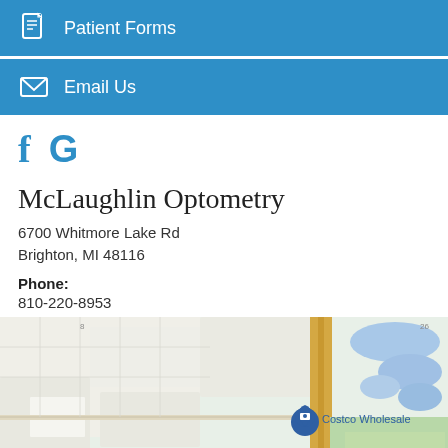Patient Forms
Email Us
[Figure (other): Social media icons: Facebook (f) and Google (G) in blue]
McLaughlin Optometry
6700 Whitmore Lake Rd
Brighton, MI 48116
Phone:
810-220-8953
[Figure (map): Google Maps screenshot showing area around 6700 Whitmore Lake Rd, Brighton MI, with Costco Wholesale marker visible and Maltby Rd labeled at bottom]